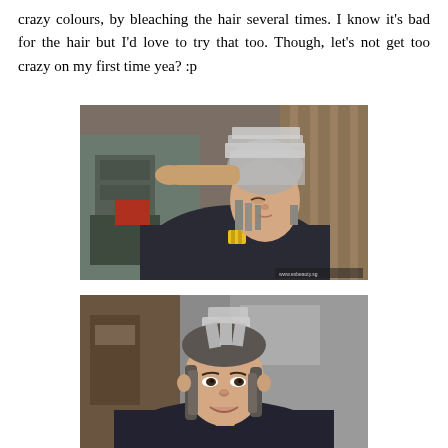crazy colours, by bleaching the hair several times. I know it's bad for the hair but I'd love to try that too. Though, let's not get too crazy on my first time yea? :p
[Figure (photo): A person sitting in a hair salon chair wearing a dark robe with a yellow clip, having their hair treated with foil highlights. A hairdresser's hands are visible working on the hair. Salon equipment and curtains visible in background.]
[Figure (photo): A young woman smiling at the camera while sitting in a salon chair, wearing a dark robe with a yellow clip, with foil pieces in her hair during a hair coloring treatment. Salon interior visible in background.]